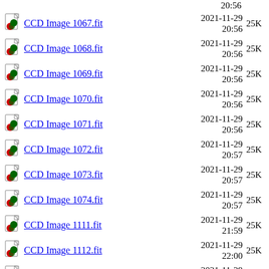20:56
CCD Image 1067.fit  2021-11-29 20:56  25K
CCD Image 1068.fit  2021-11-29 20:56  25K
CCD Image 1069.fit  2021-11-29 20:56  25K
CCD Image 1070.fit  2021-11-29 20:56  25K
CCD Image 1071.fit  2021-11-29 20:56  25K
CCD Image 1072.fit  2021-11-29 20:57  25K
CCD Image 1073.fit  2021-11-29 20:57  25K
CCD Image 1074.fit  2021-11-29 20:57  25K
CCD Image 1111.fit  2021-11-29 21:59  25K
CCD Image 1112.fit  2021-11-29 22:00  25K
CCD Image 1113.fit  2021-11-29 22:00  25K